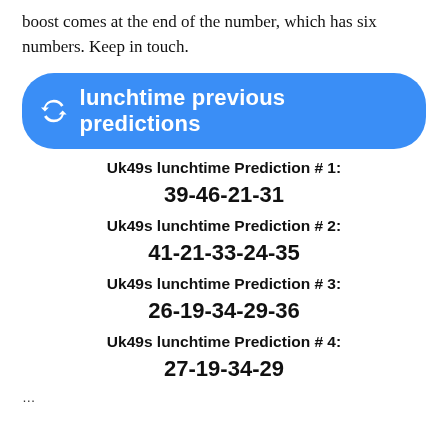boost comes at the end of the number, which has six numbers. Keep in touch.
[Figure (other): Blue rounded button with refresh/sync icon and text 'lunchtime previous predictions']
Uk49s lunchtime Prediction # 1:
39-46-21-31
Uk49s lunchtime Prediction # 2:
41-21-33-24-35
Uk49s lunchtime Prediction # 3:
26-19-34-29-36
Uk49s lunchtime Prediction # 4:
27-19-34-29
...